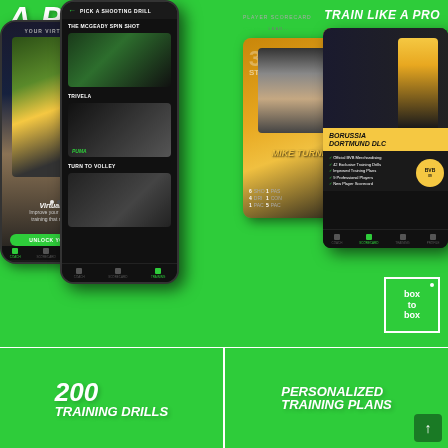[Figure (screenshot): App promotional screenshots showing a soccer training app. Left shows a phone with 'YOUR VIRTUAL COACH' and player image. Middle shows 'PICK A SHOOTING DRILL' with drill thumbnails including 'THE MCGEADY SPIN SHOT', 'TRIVELA', 'TURN TO VOLLEY'. Right shows player scorecard for 'MIKE TURNER' and a Borussia Dortmund DLC card with BVB branding and features list.]
A PRO
TRAIN LIKE A PRO
box to box
200 TRAINING DRILLS
PERSONALIZED TRAINING PLANS